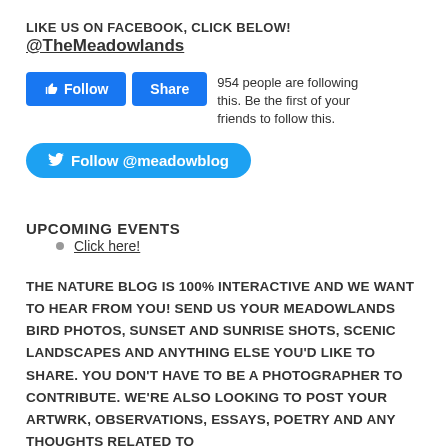LIKE US ON FACEBOOK, CLICK BELOW!
@TheMeadowlands
[Figure (other): Facebook Follow and Share buttons with text '954 people are following this. Be the first of your friends to follow this.']
[Figure (other): Twitter Follow @meadowblog button]
UPCOMING EVENTS
Click here!
THE NATURE BLOG IS 100% INTERACTIVE AND WE WANT TO HEAR FROM YOU! SEND US YOUR MEADOWLANDS BIRD PHOTOS, SUNSET AND SUNRISE SHOTS, SCENIC LANDSCAPES AND ANYTHING ELSE YOU'D LIKE TO SHARE. YOU DON'T HAVE TO BE A PHOTOGRAPHER TO CONTRIBUTE. WE'RE ALSO LOOKING TO POST YOUR ARTWRK, OBSERVATIONS, ESSAYS, POETRY AND ANY THOUGHTS RELATED TO